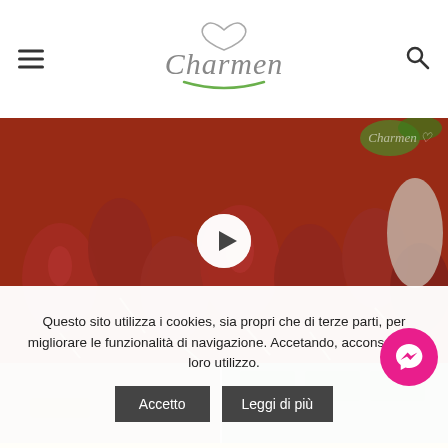Charmen (logo with heart)
[Figure (photo): Close-up photo of red radishes with a play button overlay, indicating a video thumbnail. The radishes are bright red with white roots on a yellow background.]
[Figure (photo): Partial view of a second image showing what appears to be a kitchen or market scene, partially obscured by cookie consent banner.]
Questo sito utilizza i cookies, sia propri che di terze parti, per migliorare le funzionalità di navigazione. Accetando, acconsenti al loro utilizzo.
Accetto
Leggi di più